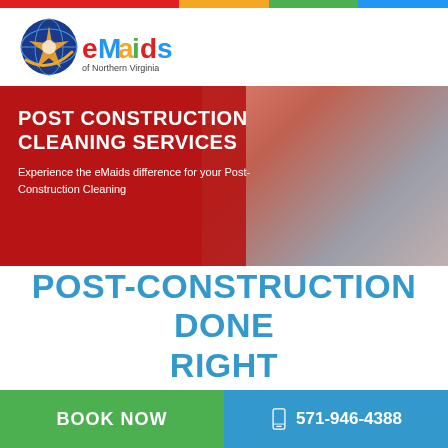[Figure (logo): eMaids of Northern Virginia logo — circular icon with globe/star design, colored letters eMaids in red/green/blue/orange, tagline 'of Northern Virginia']
POST CONSTRUCTION CLEANING SERVICES
Experience the eMaids difference for your Post-Construction Cleaning
POST-CONSTRUCTION DONE RIGHT
BOOK NOW
571-946-4388